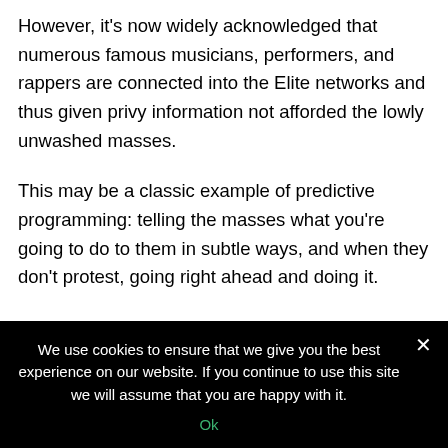However, it's now widely acknowledged that numerous famous musicians, performers, and rappers are connected into the Elite networks and thus given privy information not afforded the lowly unwashed masses.
This may be a classic example of predictive programming: telling the masses what you're going to do to them in subtle ways, and when they don't protest, going right ahead and doing it.
We use cookies to ensure that we give you the best experience on our website. If you continue to use this site we will assume that you are happy with it.
Ok